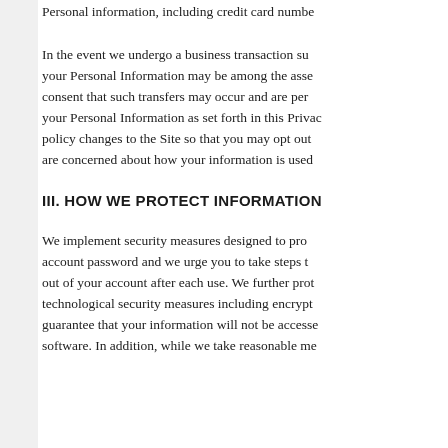Personal information, including credit card numbe...
In the event we undergo a business transaction su... your Personal Information may be among the asse... consent that such transfers may occur and are per... your Personal Information as set forth in this Privac... policy changes to the Site so that you may opt out ... are concerned about how your information is used...
III. HOW WE PROTECT INFORMATION
We implement security measures designed to pro... account password and we urge you to take steps t... out of your account after each use. We further prot... technological security measures including encrypt... guarantee that your information will not be accesse... software. In addition, while we take reasonable me...